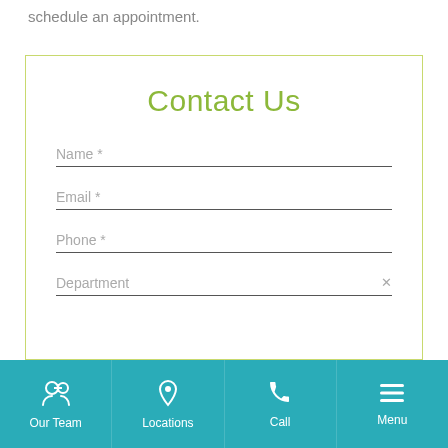schedule an appointment.
Contact Us
Name *
Email *
Phone *
Department
Our Team | Locations | Call | Menu